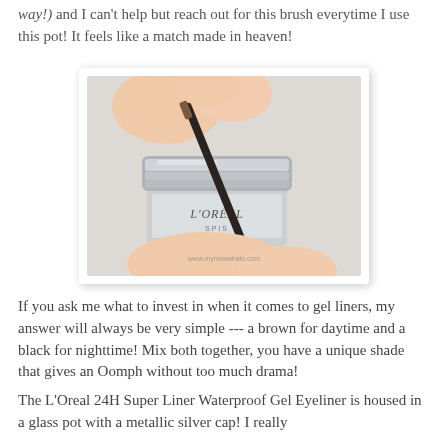way!) and I can't help but reach out for this brush everytime I use this pot!  It feels like a match made in heaven!
[Figure (photo): A hand holding a L'Oreal gel eyeliner pot with a metallic silver lid, and a dark eyeliner brush resting across it diagonally. Watermark reads www.mynewwhats.com.]
If you ask me what to invest in when it comes to gel liners, my answer will always be very simple --- a brown for daytime and a black for nighttime!  Mix both together, you have a unique shade that gives an Oomph without too much drama!
The L'Oreal 24H Super Liner Waterproof Gel Eyeliner is housed in a glass pot with a metallic silver cap!  I really